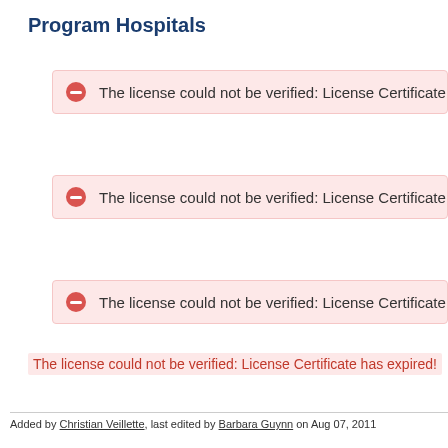Program Hospitals
The license could not be verified: License Certificate has exp
The license could not be verified: License Certificate has exp
The license could not be verified: License Certificate has exp
The license could not be verified: License Certificate has expired!
Added by Christian Veillette, last edited by Barbara Guynn on Aug 07, 2011
Cite this page
Page contributions